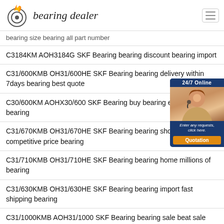bearing dealer
bearing size bearing all part number
C3184KM AOH3184G SKF Bearing bearing discount bearing import
C31/600KMB OH31/600HE SKF Bearing bearing delivery within 7days bearing best quote
C30/600KM AOHX30/600 SKF Bearing buy bearing easy ordering bearing
C31/670KMB OH31/670HE SKF Bearing bearing shop online competitive price bearing
C31/710KMB OH31/710HE SKF Bearing bearing home millions of bearing
C31/630KMB OH31/630HE SKF Bearing bearing import fast shipping bearing
C31/1000KMB AOH31/1000 SKF Bearing bearing sale beat sale bearing
C3196KMB OH3196HE SKF Bearing bearing now bearing stock
C3176KMB OH3176HE SKF Bearing compare price
[Figure (infographic): 24/7 Online chat widget with agent photo, enter requests click here text, and Quotation button]
[Figure (infographic): Blue contact bubble button with smiley face icon and 'contact' text]